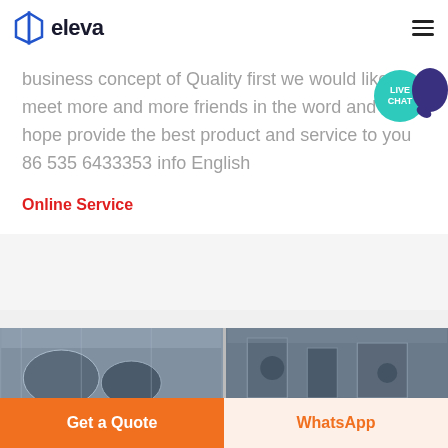eleva
business concept of Quality first we would like to meet more and more friends in the word and we hope provide the best product and service to you 86 535 6433353 info English
Online Service
[Figure (photo): Two industrial facility photos side by side showing large cylindrical tanks and industrial equipment]
Get a Quote
WhatsApp